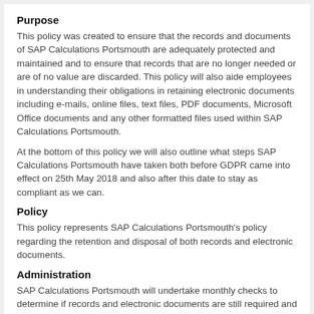Purpose
This policy was created to ensure that the records and documents of SAP Calculations Portsmouth are adequately protected and maintained and to ensure that records that are no longer needed or are of no value are discarded. This policy will also aide employees in understanding their obligations in retaining electronic documents including e-mails, online files, text files, PDF documents, Microsoft Office documents and any other formatted files used within SAP Calculations Portsmouth.
At the bottom of this policy we will also outline what steps SAP Calculations Portsmouth have taken both before GDPR came into effect on 25th May 2018 and also after this date to stay as compliant as we can.
Policy
This policy represents SAP Calculations Portsmouth's policy regarding the retention and disposal of both records and electronic documents.
Administration
SAP Calculations Portsmouth will undertake monthly checks to determine if records and electronic documents are still required and dispose of them accordingly if deemed unnecessary. We will ensure that our schedule, as well as this policy, follows National legislation. We will hold annual reviews of our record retention and disposal program as well as constantly monitoring employee compliance with this policy.
In addition, any retained information we keep can and will only be used for the purpose for which it is stored. This is compliant with the